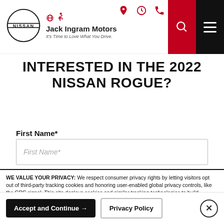[Figure (logo): Nissan logo and Jack Ingram Motors dealer logo with tagline 'It's Time to Love What You Drive.']
INTERESTED IN THE 2022 NISSAN ROGUE?
First Name*
WE VALUE YOUR PRIVACY: We respect consumer privacy rights by letting visitors opt out of third-party tracking cookies and honoring user-enabled global privacy controls, like the GPC signal. This site deploys cookies and similar tracking technologies to build profiles, serve ads, and personalize your experience across websites. By pressing accept, you consent to the use of such cookies. To manage your privacy rights or view the categories of personal information we collect and the purposes for which the information is used, click here.
Language: English  Powered by ComplyAuto
Accept and Continue →   Privacy Policy